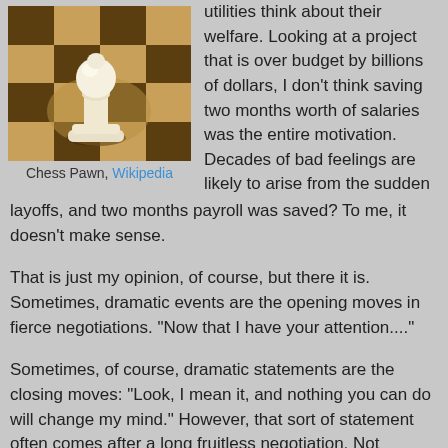[Figure (photo): A chess pawn piece on a chessboard, photographed close-up. The pawn is white/ivory colored and sits on a light square with dark wooden squares visible around it.]
Chess Pawn, Wikipedia
utilities think about their welfare. Looking at a project that is over budget by billions of dollars, I don't think saving two months worth of salaries was the entire motivation. Decades of bad feelings are likely to arise from the sudden layoffs, and two months payroll was saved? To me, it doesn't make sense.
That is just my opinion, of course, but there it is.  Sometimes, dramatic events are the opening moves in fierce negotiations.  "Now that I have  your attention...."
Sometimes, of course, dramatic statements are the closing moves: "Look, I mean it, and nothing you can do will change my mind." However, that sort of statement often comes after a long fruitless negotiation.  Not always, but usually.
Games people play
If this were a chess game, I would say: This is more likely to